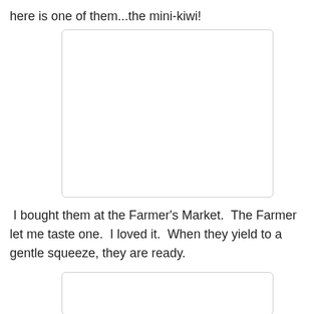here is one of them...the mini-kiwi!
[Figure (photo): A blank/white image placeholder for a photo of mini-kiwi fruits]
I bought them at the Farmer's Market.  The Farmer let me taste one.  I loved it.  When they yield to a gentle squeeze, they are ready.
[Figure (photo): A blank/white image placeholder for a second photo of mini-kiwi]